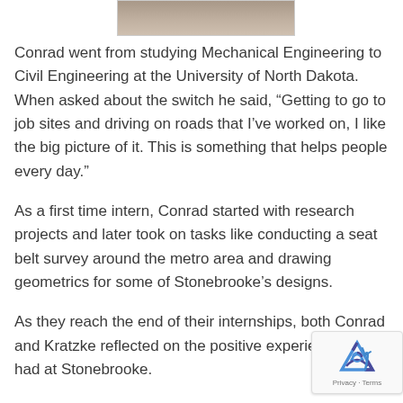[Figure (photo): Partial photo visible at the top of the page, cropped]
Conrad went from studying Mechanical Engineering to Civil Engineering at the University of North Dakota. When asked about the switch he said, “Getting to go to job sites and driving on roads that I’ve worked on, I like the big picture of it. This is something that helps people every day.”
As a first time intern, Conrad started with research projects and later took on tasks like conducting a seat belt survey around the metro area and drawing geometrics for some of Stonebrooke’s designs.
As they reach the end of their internships, both Conrad and Kratzke reflected on the positive experience they had at Stonebrooke.
“I came back for the close, family vibe that they ha… here,” Kratzke said.